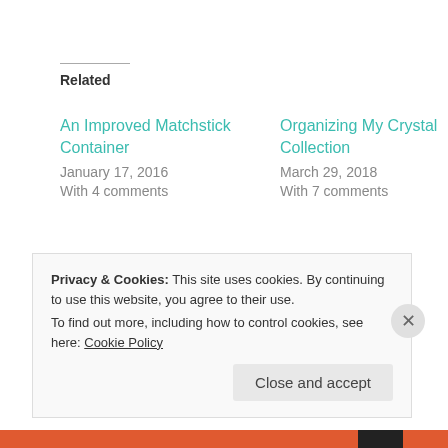Related
An Improved Matchstick Container
January 17, 2016
With 4 comments
Organizing My Crystal Collection
March 29, 2018
With 7 comments
Rustic Pagan Decor?
February 25, 2014
In "Art and Decor"
Privacy & Cookies: This site uses cookies. By continuing to use this website, you agree to their use.
To find out more, including how to control cookies, see here: Cookie Policy
Close and accept